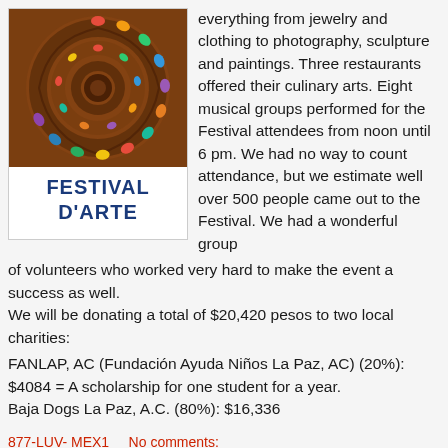[Figure (photo): Festival D'Arte poster image showing a colorful ammonite/spiral shell with multicolored gems and the text 'FESTIVAL D'ARTE' in blue on white background]
everything from jewelry and clothing to photography, sculpture and paintings. Three restaurants offered their culinary arts. Eight musical groups performed for the Festival attendees from noon until 6 pm. We had no way to count attendance, but we estimate well over 500 people came out to the Festival. We had a wonderful group of volunteers who worked very hard to make the event a success as well.
We will be donating a total of $20,420 pesos to two local charities:
FANLAP, AC (Fundación Ayuda Niños La Paz, AC) (20%): $4084 = A scholarship for one student for a year.
Baja Dogs La Paz, A.C. (80%): $16,336
877-LUV- MEX1    No comments:
Share